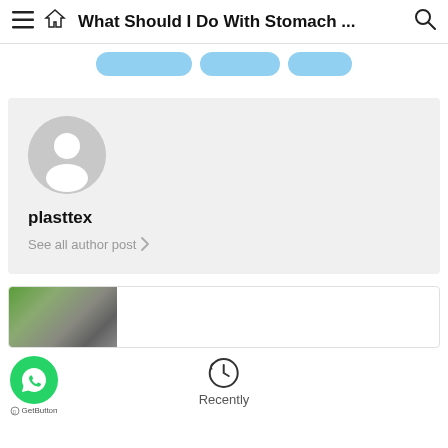What Should I Do With Stomach ...
[Figure (other): Three blue pill/tag shaped buttons in a row]
[Figure (other): Author profile card with grey avatar, username 'plasttex', and 'See all author post >' link]
plasttex
See all author post >
[Figure (photo): Partial thumbnail image of a article preview at the bottom]
[Figure (other): WhatsApp GetButton floating button with D.GetButton label]
[Figure (other): Recently icon (clock/history) with 'Recently' label]